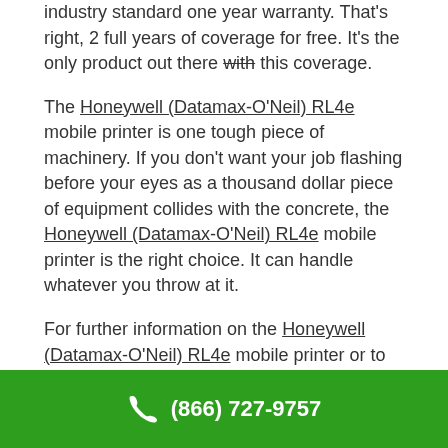industry standard one year warranty. That's right, 2 full years of coverage for free. It's the only product out there with this coverage.
The Honeywell (Datamax-O'Neil) RL4e mobile printer is one tough piece of machinery. If you don't want your job flashing before your eyes as a thousand dollar piece of equipment collides with the concrete, the Honeywell (Datamax-O'Neil) RL4e mobile printer is the right choice. It can handle whatever you throw at it.
For further information on the Honeywell (Datamax-O'Neil) RL4e mobile printer or to learn more about other options for all your labeling and barcode printing and scanning needs, call us as (866) 727-9757 and immediately talk to one of our friendly representatives; or
(866) 727-9757